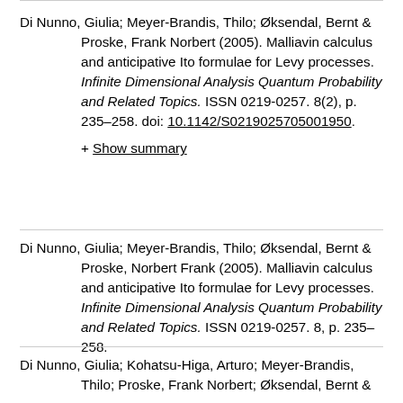Di Nunno, Giulia; Meyer-Brandis, Thilo; Øksendal, Bernt & Proske, Frank Norbert (2005). Malliavin calculus and anticipative Ito formulae for Levy processes. Infinite Dimensional Analysis Quantum Probability and Related Topics. ISSN 0219-0257. 8(2), p. 235–258. doi: 10.1142/S0219025705001950. + Show summary
Di Nunno, Giulia; Meyer-Brandis, Thilo; Øksendal, Bernt & Proske, Norbert Frank (2005). Malliavin calculus and anticipative Ito formulae for Levy processes. Infinite Dimensional Analysis Quantum Probability and Related Topics. ISSN 0219-0257. 8, p. 235–258.
Di Nunno, Giulia; Kohatsu-Higa, Arturo; Meyer-Brandis, Thilo; Proske, Frank Norbert; Øksendal, Bernt &